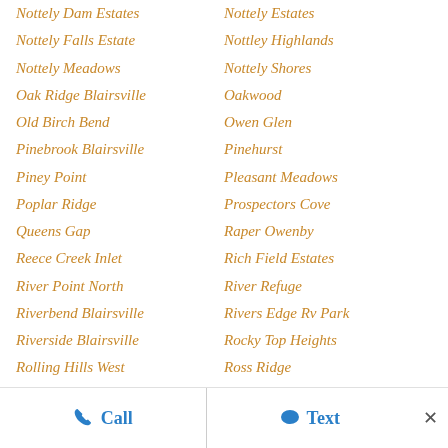Nottely Dam Estates
Nottely Estates
Nottely Falls Estate
Nottley Highlands
Nottely Meadows
Nottely Shores
Oak Ridge Blairsville
Oakwood
Old Birch Bend
Owen Glen
Pinebrook Blairsville
Pinehurst
Piney Point
Pleasant Meadows
Poplar Ridge
Prospectors Cove
Queens Gap
Raper Owenby
Reece Creek Inlet
Rich Field Estates
River Point North
River Refuge
Riverbend Blairsville
Rivers Edge Rv Park
Riverside Blairsville
Rocky Top Heights
Rolling Hills West
Ross Ridge
Call | Text